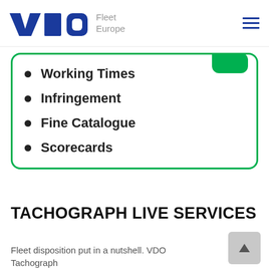VDO Fleet Europe
Working Times
Infringement
Fine Catalogue
Scorecards
TACHOGRAPH LIVE SERVICES
Fleet disposition put in a nutshell. VDO Tachograph